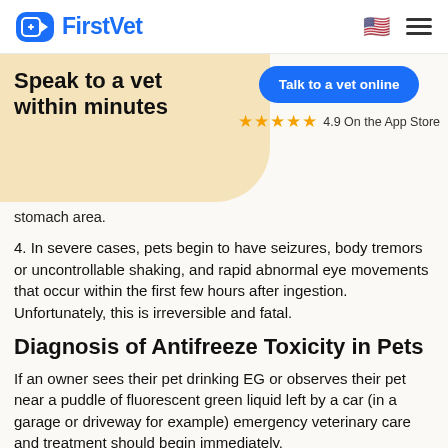FirstVet
[Figure (logo): FirstVet logo with blue camera/plus icon and blue text]
Speak to a vet within minutes
Talk to a vet online
★★★★★ 4.9 On the App Store
stomach area.
4. In severe cases, pets begin to have seizures, body tremors or uncontrollable shaking, and rapid abnormal eye movements that occur within the first few hours after ingestion. Unfortunately, this is irreversible and fatal.
Diagnosis of Antifreeze Toxicity in Pets
If an owner sees their pet drinking EG or observes their pet near a puddle of fluorescent green liquid left by a car (in a garage or driveway for example) emergency veterinary care and treatment should begin immediately.